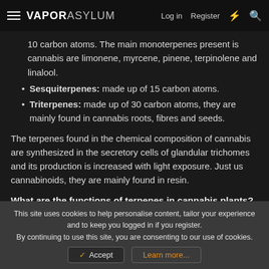VAPORASYLUM — Log in  Register
10 carbon atoms. The main monoterpenes present is cannabis are limonene, myrcene, pinene, terpinolene and linalool.
Sesquiterpenes: made up of 15 carbon atoms.
Triterpenes: made up of 30 carbon atoms, they are mainly found in cannabis roots, fibres and seeds.
The terpenes found in the chemical composition of cannabis are synthesized in the secretory cells of glandular trichomes and its production is increased with light exposure. Just us cannabinoids, they are mainly found in resin.
What are the functions of terpenes in cannabis plants?
These fragrant compounds are found in higher concentrations in unfertilized female cannabis flowers and
This site uses cookies to help personalise content, tailor your experience and to keep you logged in if you register.
By continuing to use this site, you are consenting to our use of cookies.